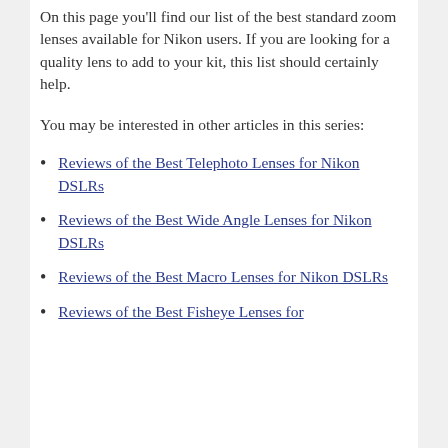On this page you'll find our list of the best standard zoom lenses available for Nikon users. If you are looking for a quality lens to add to your kit, this list should certainly help.
You may be interested in other articles in this series:
Reviews of the Best Telephoto Lenses for Nikon DSLRs
Reviews of the Best Wide Angle Lenses for Nikon DSLRs
Reviews of the Best Macro Lenses for Nikon DSLRs
Reviews of the Best Fisheye Lenses for...